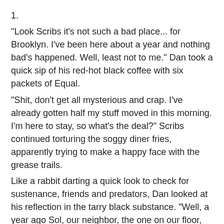1.
"Look Scribs it's not such a bad place... for Brooklyn. I've been here about a year and nothing bad's happened. Well, least not to me." Dan took a quick sip of his red-hot black coffee with six packets of Equal.
"Shit, don't get all mysterious and crap. I've already gotten half my stuff moved in this morning. I'm here to stay, so what's the deal?" Scribs continued torturing the soggy diner fries, apparently trying to make a happy face with the grease trails.
Like a rabbit darting a quick look to check for sustenance, friends and predators, Dan looked at his reflection in the tarry black substance. "Well, a year ago Sol, our neighbor, the one on our floor, got his place broken into. His shit was all over the floor. The door was pried open with a crowbar. The wall had a pretty bad dent. I mean check it out; according to the cops, first they sledgehammered through the wall next to his door. They wanted some kinda opening to reach in and unlock the door or something. When they saw a shelf on the other side, they decided to just sledgehammer the door. After a few shots, they finished the